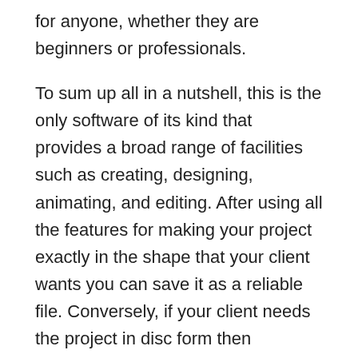for anyone, whether they are beginners or professionals.
To sum up all in a nutshell, this is the only software of its kind that provides a broad range of facilities such as creating, designing, animating, and editing. After using all the features for making your project exactly in the shape that your client wants you can save it as a reliable file. Conversely, if your client needs the project in disc form then CyberLink PowerDirector Crack owns a built-in disc burner. Through this, it becomes easy to put your production into the disc without using any other disc burner.
Key Features: